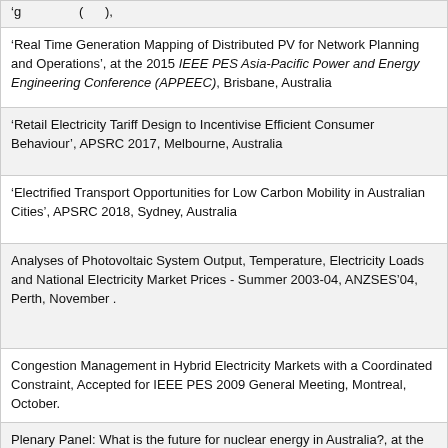'Real Time Generation Mapping of Distributed PV for Network Planning and Operations', at the 2015 IEEE PES Asia-Pacific Power and Energy Engineering Conference (APPEEC), Brisbane, Australia
'Retail Electricity Tariff Design to Incentivise Efficient Consumer Behaviour', APSRC 2017, Melbourne, Australia
'Electrified Transport Opportunities for Low Carbon Mobility in Australian Cities', APSRC 2018, Sydney, Australia
Analyses of Photovoltaic System Output, Temperature, Electricity Loads and National Electricity Market Prices - Summer 2003-04, ANZSES'04, Perth, November .
Congestion Management in Hybrid Electricity Markets with a Coordinated Constraint, Accepted for IEEE PES 2009 General Meeting, Montreal, October.
Plenary Panel: What is the future for nuclear energy in Australia?, at the EESA NSW: Energy NSW 2006 Conference, Sydney, 16th-17th November 2006
'Assessing the Impact of Household PV Systems on the Profits of All Electricity Industry Participants', in Proc. IEEE PES2012, San Diego, July